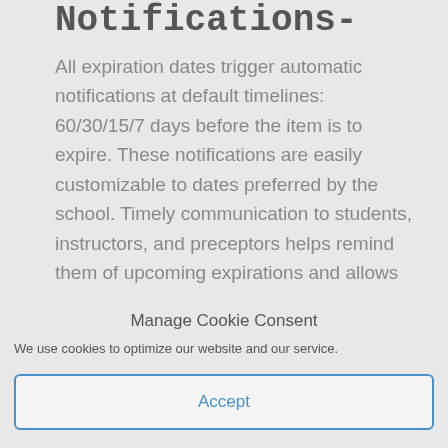Notifications-
All expiration dates trigger automatic notifications at default timelines: 60/30/15/7 days before the item is to expire. These notifications are easily customizable to dates preferred by the school. Timely communication to students, instructors, and preceptors helps remind them of upcoming expirations and allows
Manage Cookie Consent
We use cookies to optimize our website and our service.
Accept